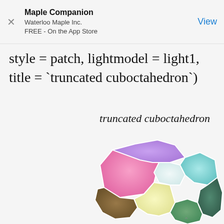Maple Companion
Waterloo Maple Inc.
FREE - On the App Store
style = patch, lightmodel = light1, title = `truncated cuboctahedron`)
truncated cuboctahedron
[Figure (illustration): 3D rendering of a truncated cuboctahedron with colorful faces in pink, purple, teal, green, and yellow-white gradients on a white background.]